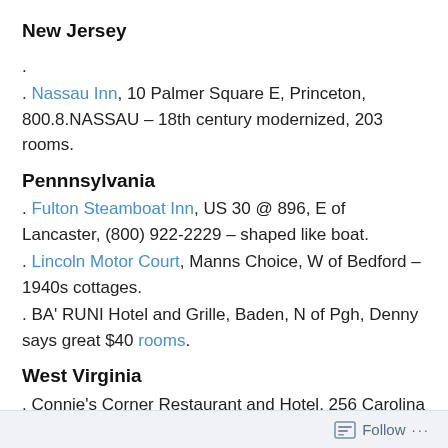New Jersey
.
. Nassau Inn, 10 Palmer Square E, Princeton, 800.8.NASSAU – 18th century modernized, 203 rooms.
Pennnsylvania
. Fulton Steamboat Inn, US 30 @ 896, E of Lancaster, (800) 922-2229 – shaped like boat.
. Lincoln Motor Court, Manns Choice, W of Bedford – 1940s cottages.
. BA' RUNI Hotel and Grille, Baden, N of Pgh, Denny says great $40 rooms.
West Virginia
. Connie's Corner Restaurant and Hotel, 256 Carolina Ave, Chester, (304) 387-0770
Follow ...